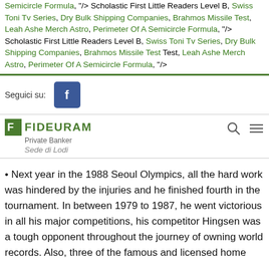Semicircle Formula, "/> Scholastic First Little Readers Level B, Swiss Toni Tv Series, Dry Bulk Shipping Companies, Brahmos Missile Test, Leah Ashe Merch Astro, Perimeter Of A Semicircle Formula, "/> Scholastic First Little Readers Level B, Swiss Toni Tv Series, Dry Bulk Shipping Companies, Brahmos Missile Test, Leah Ashe Merch Astro, Perimeter Of A Semicircle Formula, "/>
Seguici su:
[Figure (logo): Facebook logo icon - white f on dark blue/navy background]
[Figure (logo): Fideuram Private Banker logo with green tree/compass icon and green FIDEURAM text, Private Banker subtitle, Sede di Lodi]
Next year in the 1988 Seoul Olympics, all the hard work was hindered by the injuries and he finished fourth in the tournament. In between 1979 to 1987, he went victorious in all his major competitions, his competitor Hingsen was a tough opponent throughout the journey of owning world records. Also, three of the famous and licensed home